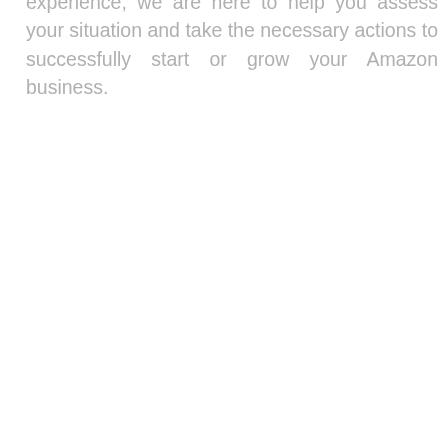experience, we are here to help you assess your situation and take the necessary actions to successfully start or grow your Amazon business.